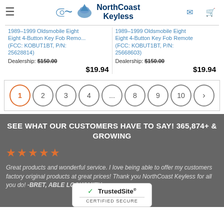[Figure (logo): NorthCoast Keyless logo with wave graphic]
1989-1999 Oldsmobile Eighty Eight 4-Button Key Fob Remote (FCC: KOBUT1BT, P/N: 25628814) Dealership: $150.00 $19.94
1989-1999 Oldsmobile Eighty Eight 4-Button Key Fob Remote (FCC: KOBUT1BT, P/N: 25668603) Dealership: $150.00 $19.94
Pagination: 1 2 3 4 ... 8 9 10 >
SEE WHAT OUR CUSTOMERS HAVE TO SAY! 365,874+ & GROWING
★★★★★ Great products and wonderful service. I love being able to offer my customers factory original products at great prices! Thank you NorthCoast Keyless for all you do! -BRET, ABLE LOCKSMITH
[Figure (logo): TrustedSite Certified Secure badge]